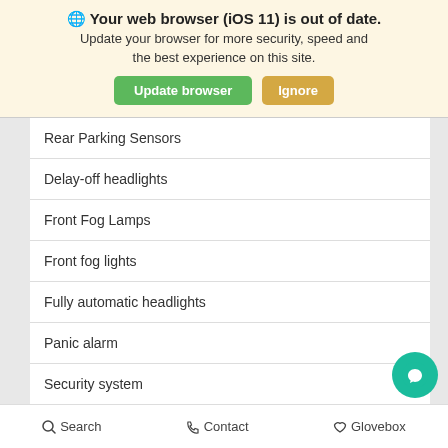🌐 Your web browser (iOS 11) is out of date. Update your browser for more security, speed and the best experience on this site. [Update browser] [Ignore]
| Rear Parking Sensors |
| Delay-off headlights |
| Front Fog Lamps |
| Front fog lights |
| Fully automatic headlights |
| Panic alarm |
| Security system |
Search   Contact   Glovebox